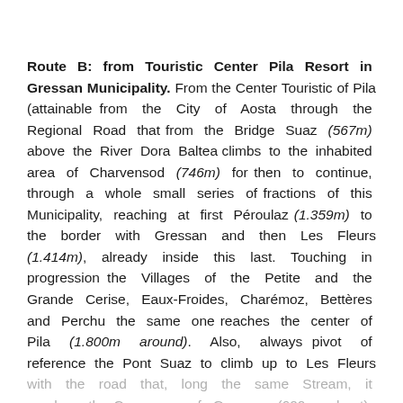Route B: from Touristic Center Pila Resort in Gressan Municipality. From the Center Touristic of Pila (attainable from the City of Aosta through the Regional Road that from the Bridge Suaz (567m) above the River Dora Baltea climbs to the inhabited area of Charvensod (746m) for then to continue, through a whole small series of fractions of this Municipality, reaching at first Péroulaz (1.359m) to the border with Gressan and then Les Fleurs (1.414m), already inside this last. Touching in progression the Villages of the Petite and the Grande Cerise, Eaux-Froides, Charémoz, Bettères and Perchu the same one reaches the center of Pila (1.800m around). Also, always pivot of reference the Pont Suaz to climb up to Les Fleurs with the road that, long the same Stream, it reaches the Commune of Gressan (600m about). From the rotunda really in front of the Commune, between the inhabited